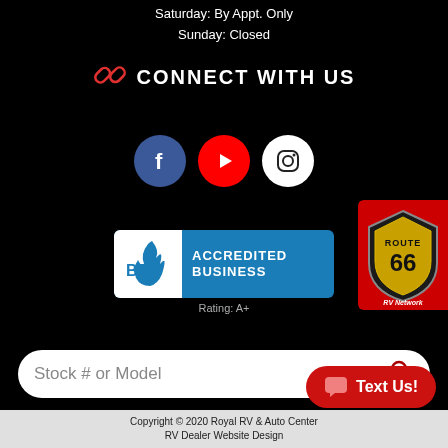Saturday: By Appt. Only
Sunday: Closed
CONNECT WITH US
[Figure (infographic): Social media icons: Facebook (blue circle), YouTube (red circle), Instagram (white circle)]
[Figure (logo): BBB Accredited Business badge with Rating: A+]
[Figure (logo): Route 66 RV Network badge on red background]
Stock # or Model
Text Us!
Copyright © 2020 Royal RV & Auto Center
RV Dealer Website Design